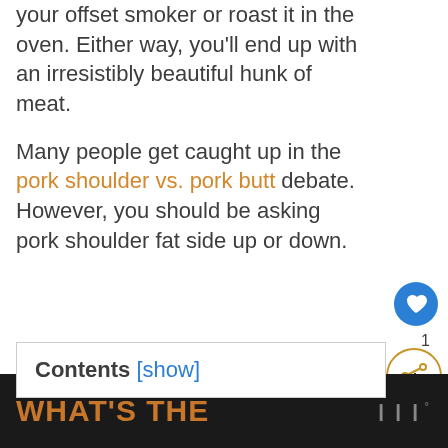your offset smoker or roast it in the oven. Either way, you'll end up with an irresistibly beautiful hunk of meat.
Many people get caught up in the pork shoulder vs. pork butt debate. However, you should be asking pork shoulder fat side up or down.
Contents [show]
WHAT'S THE